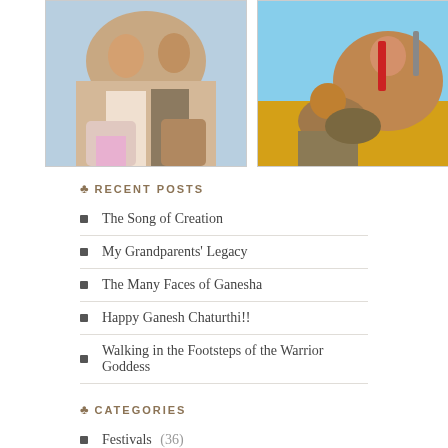[Figure (photo): Two Hindu deities illustration — Shiva and Parvati]
[Figure (photo): Durga riding a lion, multi-armed goddess illustration]
♣ RECENT POSTS
The Song of Creation
My Grandparents' Legacy
The Many Faces of Ganesha
Happy Ganesh Chaturthi!!
Walking in the Footsteps of the Warrior Goddess
♣ CATEGORIES
Festivals (36)
Fine Print- the beautiful and sublime (3)
Goddesses (13)